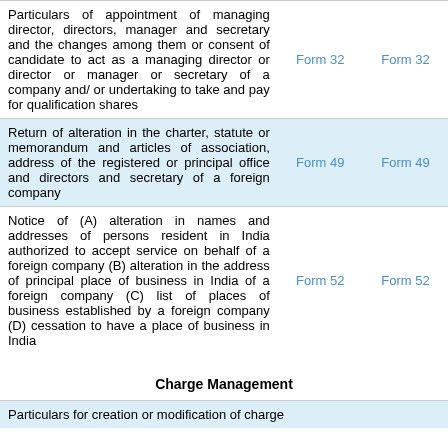| Description | Form | Form |
| --- | --- | --- |
| Particulars of appointment of managing director, directors, manager and secretary and the changes among them or consent of candidate to act as a managing director or director or manager or secretary of a company and/ or undertaking to take and pay for qualification shares | Form 32 | Form 32 |
| Return of alteration in the charter, statute or memorandum and articles of association, address of the registered or principal office and directors and secretary of a foreign company | Form 49 | Form 49 |
| Notice of (A) alteration in names and addresses of persons resident in India authorized to accept service on behalf of a foreign company (B) alteration in the address of principal place of business in India of a foreign company (C) list of places of business established by a foreign company (D) cessation to have a place of business in India | Form 52 | Form 52 |
Charge Management
Particulars for creation or modification of charge